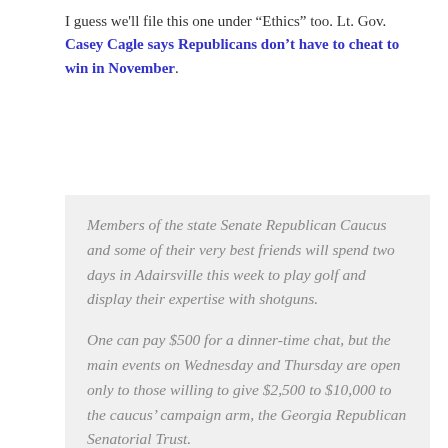I guess we'll file this one under "Ethics" too. Lt. Gov. Casey Cagle says Republicans don't have to cheat to win in November.
Members of the state Senate Republican Caucus and some of their very best friends will spend two days in Adairsville this week to play golf and display their expertise with shotguns.

One can pay $500 for a dinner-time chat, but the main events on Wednesday and Thursday are open only to those willing to give $2,500 to $10,000 to the caucus' campaign arm, the Georgia Republican Senatorial Trust.

Lt. Gov. Casey Cagle has sent an email to Republicans to inform them, in very strong language, that he's not going.